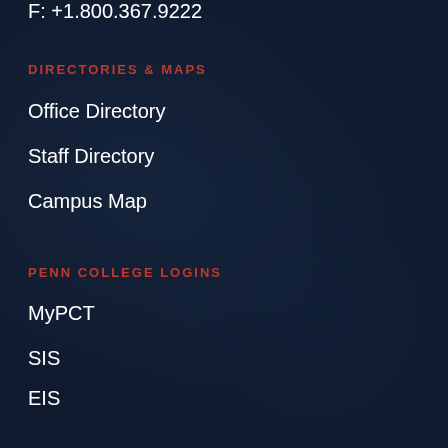F: +1.800.367.9222
DIRECTORIES & MAPS
Office Directory
Staff Directory
Campus Map
PENN COLLEGE LOGINS
MyPCT
SIS
EIS
P.L.A.T.O.
STATEMENTS ABOUT
Privacy
Accessibility